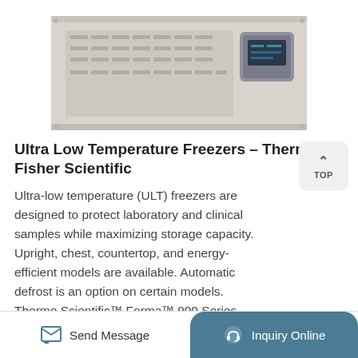[Figure (photo): Bottom portion of an ultra low temperature freezer unit (Thermo Fisher Scientific), showing ventilation grilles and a control panel/display on the right side. The unit is light gray/beige colored.]
Ultra Low Temperature Freezers – Thermo Fisher Scientific
Ultra-low temperature (ULT) freezers are designed to protect laboratory and clinical samples while maximizing storage capacity. Upright, chest, countertop, and energy-efficient models are available. Automatic defrost is an option on certain models. Thermo Scientific™ Forma™ 900 Series -86C Upright Ultra-Low Temperature Freezers are ...
Send Message   Inquiry Online